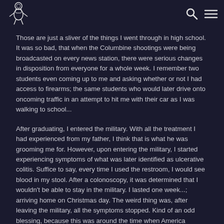[Logo and navigation icons]
Those are just a sliver of the things I went through in high school. It was so bad, that when the Columbine shootings were being broadcasted on every news station, there were serious changes in disposition from everyone for a whole week. I remember two students even coming up to me and asking whether or not I had access to firearms; the same students who would later drive onto oncoming traffic in an attempt to hit me with their car as I was walking to school...
After graduating, I entered the military. With all the treatment I had experienced from my father, I think that is what he was grooming me for. However, upon entering the military, I started experiencing symptoms of what was later identified as ulcerative colitis. Suffice to say, every time I used the restroom, I would see blood in my stool. After a colonoscopy, it was determined that I wouldn't be able to stay in the military. I lasted one week...; arriving home on Christmas day. The weird thing was, after leaving the military, all the symptoms stopped. Kind of an odd blessing, because this was around the time when America invaded Iraq under false pretences.
Upon making it to the house, I found my room had been rented